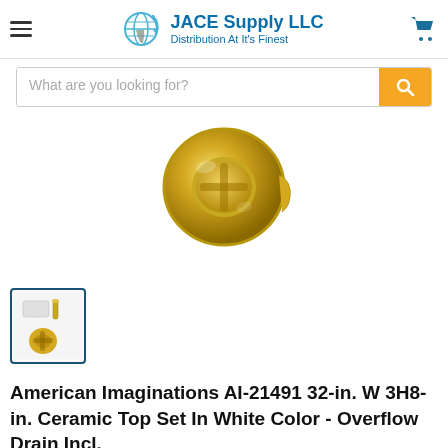JACE Supply LLC - Distribution At It's Finest
[Figure (photo): A gold-colored overflow drain ring/cover fitting, circular with decorative cross pattern, shown close-up against white background]
[Figure (photo): Small thumbnail image showing the overflow drain product with screws, inside a blue-bordered box]
American Imaginations AI-21491 32-in. W 3H8-in. Ceramic Top Set In White Color - Overflow Drain Incl.